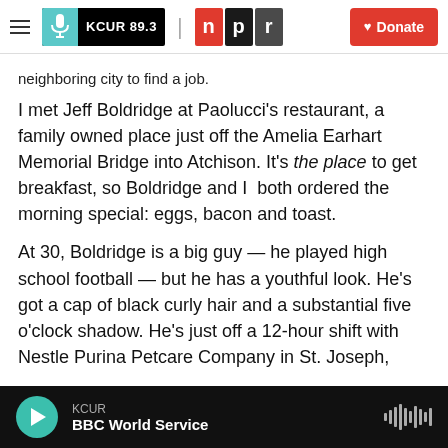[Figure (logo): KCUR 89.3 and NPR logos with Donate button navigation bar]
neighboring city to find a job.
I met Jeff Boldridge at Paolucci’s restaurant, a family owned place just off the Amelia Earhart Memorial Bridge into Atchison. It’s the place to get breakfast, so Boldridge and I  both ordered the morning special: eggs, bacon and toast.
At 30, Boldridge is a big guy — he played high school football — but he has a youthful look. He’s got a cap of black curly hair and a substantial five o’clock shadow. He’s just off a 12-hour shift with Nestle Purina Petcare Company in St. Joseph,
KCUR BBC World Service